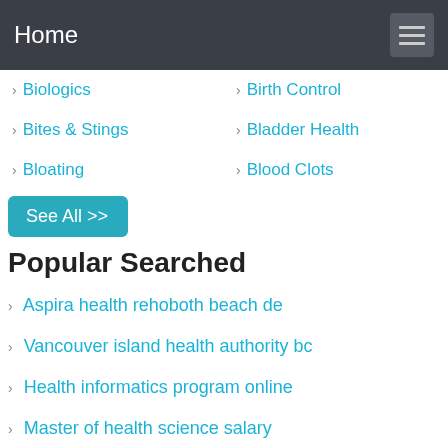Home
Biologics
Birth Control
Bites & Stings
Bladder Health
Bloating
Blood Clots
See All >>
Popular Searched
Aspira health rehoboth beach de
Vancouver island health authority bc
Health informatics program online
Master of health science salary
Department of public health usa